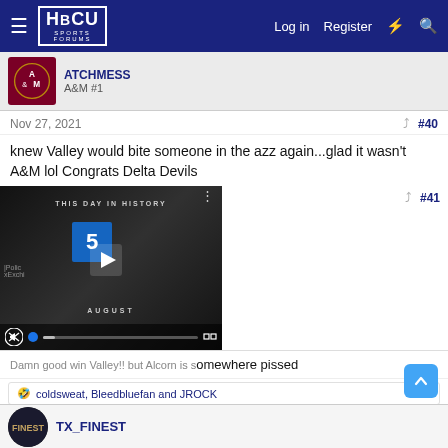HBCU Sports Forums — Log in | Register
A&M #1
Nov 27, 2021  #40
knew Valley would bite someone in the azz again...glad it wasn't A&M lol Congrats Delta Devils
[Figure (screenshot): Embedded video player showing 'THIS DAY IN HISTORY' with AUGUST label, play button, mute icon, progress bar and fullscreen button]
#41
Damn good win Valley!! but Alcorn is somewhere pissed
coldsweat, Bleedbluefan and JROCK
TX_FINEST